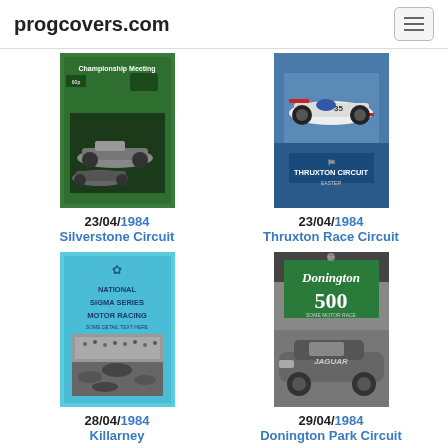progcovers.com
[Figure (photo): Programme cover for Silverstone Circuit Championship Meeting 23/04/1984 - green cover with racing car in black and white]
23/04/1984
Silverstone Circuit
[Figure (photo): Programme cover for Thruxton Race Circuit 23/04/1984 - blue cover with Formula 1 car in colour, Thruxton Circuit logo]
23/04/1984
Thruxton Race Circuit
[Figure (photo): Programme cover for Killarney 28/04/1984 - light blue cover with National Sigma Series Motor Racing text and racing cars]
28/04/1984
Killarney
[Figure (photo): Programme cover for Donington Park Circuit 29/04/1984 - Donington 500 with green title box and Jaguar car]
29/04/1984
Donington Park Circuit